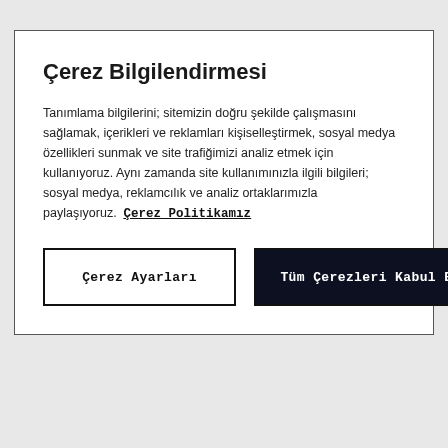Çerez Bilgilendirmesi
Tanımlama bilgilerini; sitemizin doğru şekilde çalışmasını sağlamak, içerikleri ve reklamları kişiselleştirmek, sosyal medya özellikleri sunmak ve site trafiğimizi analiz etmek için kullanıyoruz. Aynı zamanda site kullanımınızla ilgili bilgileri; sosyal medya, reklamcılık ve analiz ortaklarımızla paylaşıyoruz. Çerez Politikamız
Çerez Ayarları
Tüm Çerezleri Kabul Et
[Figure (illustration): Two gray heart icons at the bottom of the page]